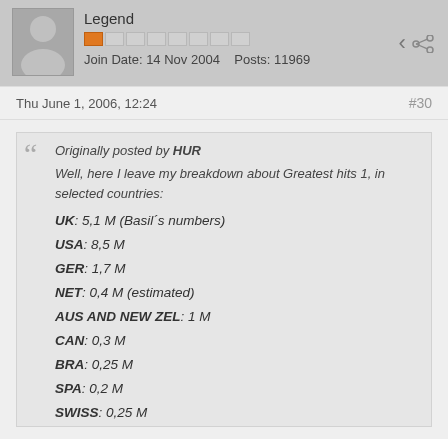[Figure (photo): User avatar silhouette icon, grey background]
Legend
Join Date: 14 Nov 2004   Posts: 11969
Thu June 1, 2006, 12:24
#30
Originally posted by HUR
Well, here I leave my breakdown about Greatest hits 1, in selected countries:

UK: 5,1 M (Basil´s numbers)

USA: 8,5 M

GER: 1,7 M

NET: 0,4 M (estimated)

AUS AND NEW ZEL: 1 M

CAN: 0,3 M

BRA: 0,25 M

SPA: 0,2 M

SWISS: 0,25 M